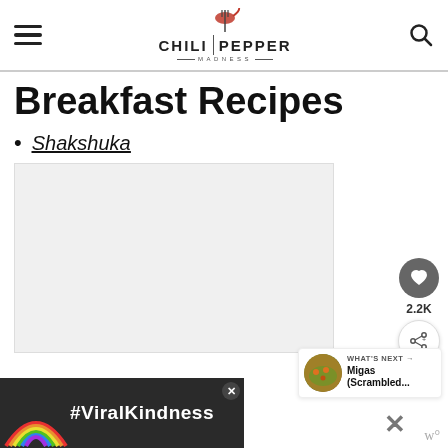CHILI PEPPER MADNESS
Breakfast Recipes
Shakshuka
[Figure (other): Floating social bar with heart/like button (2.2K) and share button]
[Figure (other): What's Next card showing Migas (Scrambled... with a thumbnail of the dish]
[Figure (other): Advertisement banner with rainbow graphic and #ViralKindness text on dark background]